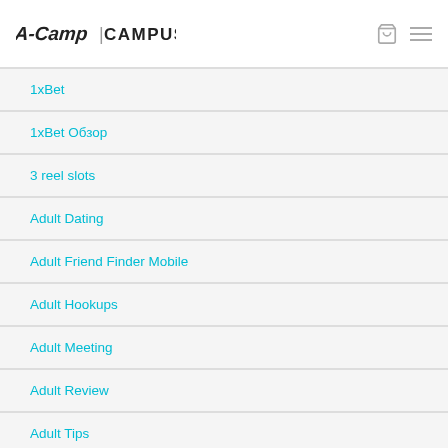A-Camp CAMPUS
1xBet
1xBet Обзор
3 reel slots
Adult Dating
Adult Friend Finder Mobile
Adult Hookups
Adult Meeting
Adult Review
Adult Tips
Adults Friend Finders
argentine women
aristocrat wheres the gold emulator
Art Research Paper Topics